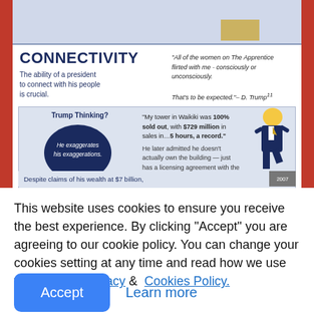[Figure (infographic): Infographic about presidential connectivity trait with Trump quote and 'Trump Thinking?' box. Shows a quote bubble with Apprentice quote attributed to D. Trump, a dark silhouette of Trump's head with text 'He exaggerates his exaggerations.' and a quote about Trump Tower Waikiki being 100% sold out with $729 million in sales in 5 hours, followed by a note he doesn't actually own the building. Bottom strip reads 'Despite claims of his wealth at $7 billion,' with a bar indicator labeled '2007'.]
This website uses cookies to ensure you receive the best experience. By clicking "Accept" you are agreeing to our cookie policy. You can change your cookies setting at any time and read how we use them in our  Privacy &  Cookies Policy.
Accept
Learn more